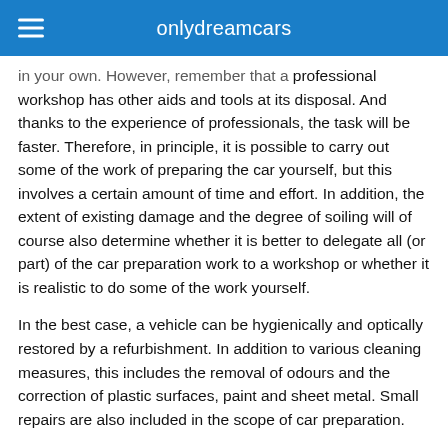onlydreamcars
in your own. However, remember that a professional workshop has other aids and tools at its disposal. And thanks to the experience of professionals, the task will be faster. Therefore, in principle, it is possible to carry out some of the work of preparing the car yourself, but this involves a certain amount of time and effort. In addition, the extent of existing damage and the degree of soiling will of course also determine whether it is better to delegate all (or part) of the car preparation work to a workshop or whether it is realistic to do some of the work yourself.
In the best case, a vehicle can be hygienically and optically restored by a refurbishment. In addition to various cleaning measures, this includes the removal of odours and the correction of plastic surfaces, paint and sheet metal. Small repairs are also included in the scope of car preparation.
Materials and tools used for a car wash
In a car preparation, the car is cleaned both professionally and